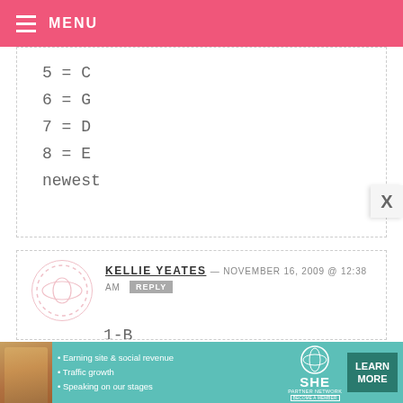MENU
5 = C
6 = G
7 = D
8 = E
newest
KELLIE YEATES — NOVEMBER 16, 2009 @ 12:38 AM
1-B
2-C
3-A
[Figure (infographic): SHE Partner Network advertisement banner with photo of woman, bullet points about earning site & social revenue, traffic growth, speaking on stages, and a Learn More button]